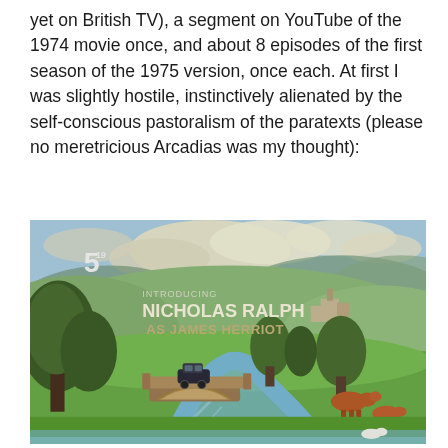yet on British TV), a segment on YouTube of the 1974 movie once, and about 8 episodes of the first season of the 1975 version, once each. At first I was slightly hostile, instinctively alienated by the self-conscious pastoralism of the paratexts (please no meretricious Arcadias was my thought):
[Figure (illustration): Animated/illustrated pastoral scene showing a stylized British countryside with rolling green hills, trees, a stone arch bridge with a vintage car crossing it, a river below, cows grazing in the distance, a village with a church tower in the background, blue sky with clouds. Text overlay reads: '5' (channel logo top left), 'INTRODUCING', 'NICHOLAS RALPH', 'AS JAMES HERRIOT'.]